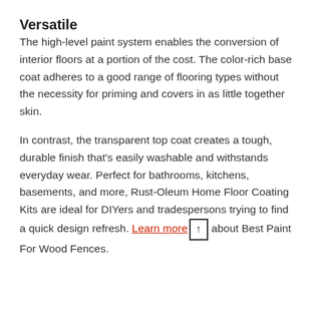Versatile
The high-level paint system enables the conversion of interior floors at a portion of the cost. The color-rich base coat adheres to a good range of flooring types without the necessity for priming and covers in as little together skin.
In contrast, the transparent top coat creates a tough, durable finish that’s easily washable and withstands everyday wear. Perfect for bathrooms, kitchens, basements, and more, Rust-Oleum Home Floor Coating Kits are ideal for DIYers and tradespersons trying to find a quick design refresh. Learn more about Best Paint For Wood Fences.